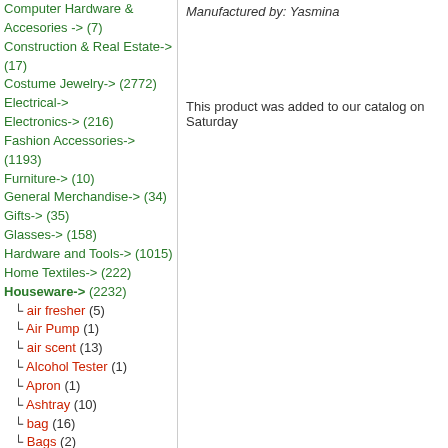Computer Hardware & Accesories -> (7)
Construction & Real Estate-> (17)
Costume Jewelry-> (2772)
Electrical->
Electronics-> (216)
Fashion Accessories-> (1193)
Furniture-> (10)
General Merchandise-> (34)
Gifts-> (35)
Glasses-> (158)
Hardware and Tools-> (1015)
Home Textiles-> (222)
Houseware-> (2232)
air fresher (5)
Air Pump (1)
air scent (13)
Alcohol Tester (1)
Apron (1)
Ashtray (10)
bag (16)
Bags (2)
Ballon (1)
Band -Aids (1)
Bandana (1)
Barker (1)
Basin (2)
Basket (2)
Bath mat (1)
Bath robe (1)
Bath Set (1)
Bath spongie (1)
Bath towel (14)
Bathroom (72)
bathtoom (3)
Manufactured by: Yasmina
This product was added to our catalog on Saturday